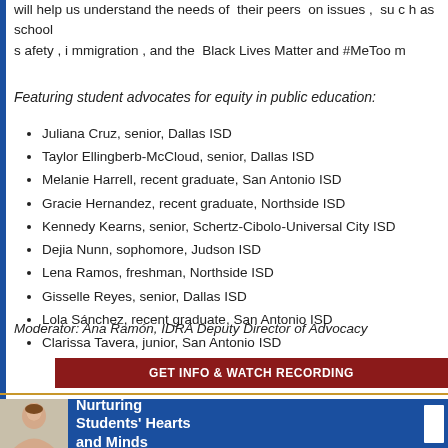will help us understand the needs of their peers on issues , such as school safety , immigration , and the Black Lives Matter and #MeToo m
Featuring student advocates for equity in public education:
Juliana Cruz, senior, Dallas ISD
Taylor Ellingberb-McCloud, senior, Dallas ISD
Melanie Harrell, recent graduate, San Antonio ISD
Gracie Hernandez, recent graduate, Northside ISD
Kennedy Kearns, senior, Schertz-Cibolo-Universal City ISD
Dejia Nunn, sophomore, Judson ISD
Lena Ramos, freshman, Northside ISD
Gisselle Reyes, senior, Dallas ISD
Lola Sánchez, recent graduate, San Antonio ISD
Clarissa Tavera, junior, San Antonio ISD
Moderator: Ana Ramón, IDRA Deputy Director of Advocacy
GET INFO & WATCH RECORDING
[Figure (photo): Portrait photo of a woman with brown hair, smiling, alongside blue background with text 'Nurturing Students' Hearts and Minds']